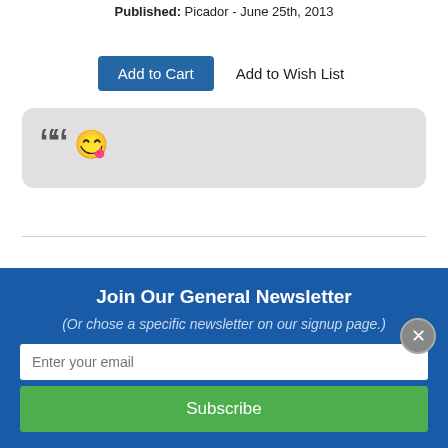Published: Picador - June 25th, 2013
Add to Cart   Add to Wish List
[Figure (other): Quote box with large quotation mark and smiley face emoji on grey rounded background]
shopping cart  ▾
0 Items
Join Our General Newsletter
(Or chose a specific newsletter on our signup page.)
Enter your email
Subscribe